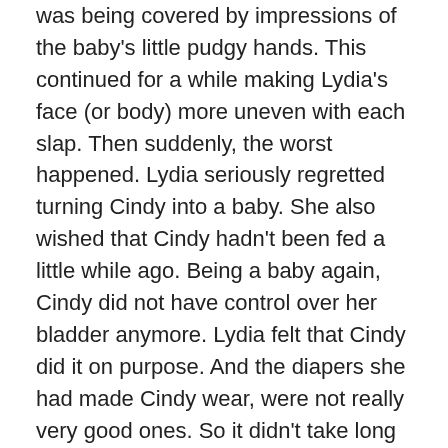was being covered by impressions of the baby's little pudgy hands. This continued for a while making Lydia's face (or body) more uneven with each slap. Then suddenly, the worst happened. Lydia seriously regretted turning Cindy into a baby. She also wished that Cindy hadn't been fed a little while ago. Being a baby again, Cindy did not have control over her bladder anymore. Lydia felt that Cindy did it on purpose. And the diapers she had made Cindy wear, were not really very good ones. So it didn't take long for Lydia to be wet all over. Cindy did not cry for wetting herself or Lydia. She just giggled more than before. Lydia could not imagine anything else worse than this. She could not do anything but feel extremely humiliated.
When the witches returned, they looked at Lydia and just started laughing. They laughed for what seemed like a long time to Lydia. There was nothing Lydia could do. After the laughter stopped, the witches picked up the baby and started changing her diaper and diaper was absolutely